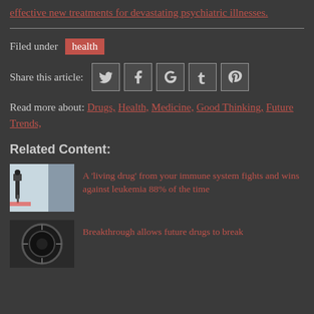clinical testing for safety and efficacy, in discovering more effective new treatments for devastating psychiatric illnesses.
Filed under health
Share this article: [Twitter] [Facebook] [Google+] [Tumblr] [Pinterest]
Read more about: Drugs, Health, Medicine, Good Thinking, Future Trends,
Related Content:
[Figure (photo): Medical equipment photo - IV drip or medical device in clinical setting]
A 'living drug' from your immune system fights and wins against leukemia 88% of the time
[Figure (photo): Medical or science related photo - dark circular object]
Breakthrough allows future drugs to break